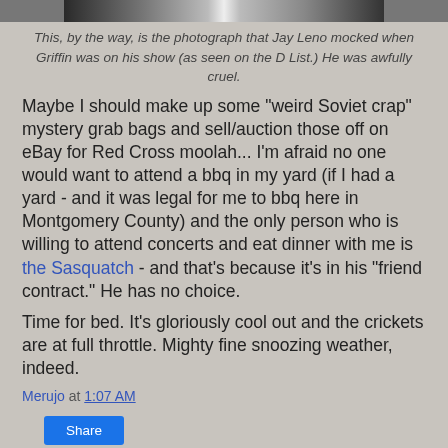[Figure (photo): Partial photo strip at top of page showing people in white and red clothing]
This, by the way, is the photograph that Jay Leno mocked when Griffin was on his show (as seen on the D List.) He was awfully cruel.
Maybe I should make up some "weird Soviet crap" mystery grab bags and sell/auction those off on eBay for Red Cross moolah... I'm afraid no one would want to attend a bbq in my yard (if I had a yard - and it was legal for me to bbq here in Montgomery County) and the only person who is willing to attend concerts and eat dinner with me is the Sasquatch - and that's because it's in his "friend contract." He has no choice.
Time for bed. It's gloriously cool out and the crickets are at full throttle. Mighty fine snoozing weather, indeed.
Merujo at 1:07 AM
Share
2 comments: